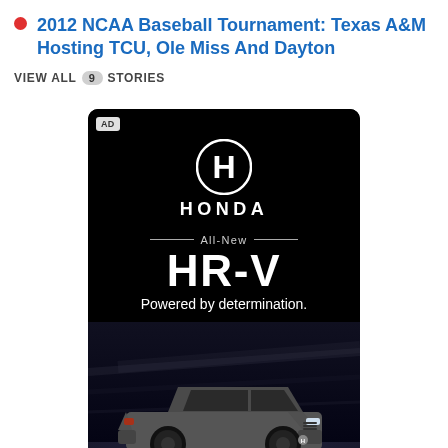2012 NCAA Baseball Tournament: Texas A&M Hosting TCU, Ole Miss And Dayton
VIEW ALL 9 STORIES
[Figure (illustration): Honda HR-V advertisement on black background. Shows Honda logo (H emblem in circle), the word HONDA, decorative lines, text 'All-New HR-V Powered by determination.' and a dark gray Honda HR-V SUV driving at night with motion-blur background.]